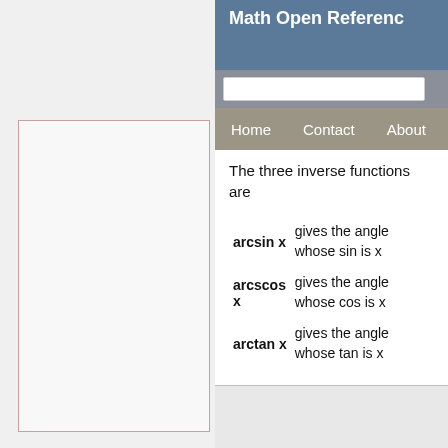Math Open Reference
The three inverse functions are
| Function | Description |
| --- | --- |
| arcsin x | gives the angle whose sin is x |
| arcscos x | gives the angle whose cos is x |
| arctan x | gives the angle whose tan is x |